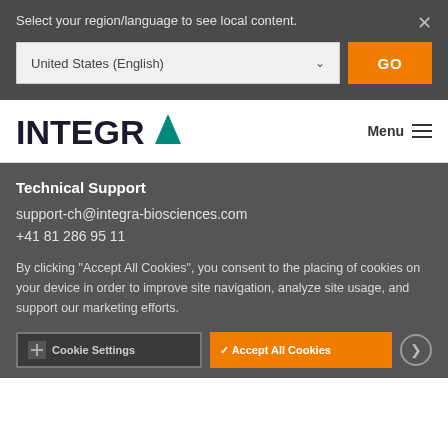Select your region/language to see local content.
United States (English)
GO
[Figure (logo): INTEGRA logo with teal triangle A]
Menu
Technical Support
support-ch@integra-biosciences.com
+41 81 286 95 11
By clicking "Accept All Cookies", you consent to the placing of cookies on your device in order to improve site navigation, analyze site usage, and support our marketing efforts.
Cookie Settings
Accept All Cookies